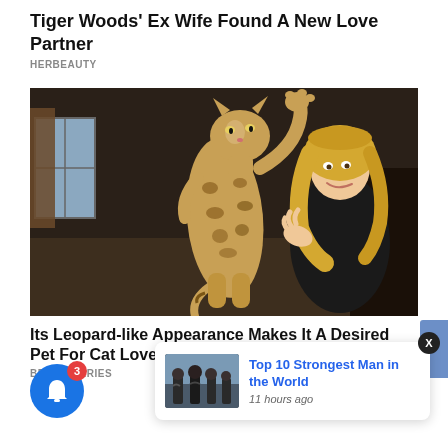Tiger Woods' Ex Wife Found A New Love Partner
HERBEAUTY
[Figure (photo): Woman with a large spotted savannah cat standing on hind legs indoors]
Its Leopard-like Appearance Makes It A Desired Pet For Cat Lovers
BRAINBERRIES
[Figure (photo): Notification popup showing 'Top 10 Strongest Man in the World' with thumbnail of muscular men, posted 11 hours ago]
Top 10 Strongest Man in the World
11 hours ago